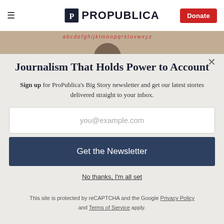ProPublica — Donate
[Figure (photo): Partial photo of a classroom with alphabet letters on the wall and a person visible in the background]
Journalism That Holds Power to Account
Sign up for ProPublica's Big Story newsletter and get our latest stories delivered straight to your inbox.
you@example.com
Get the Newsletter
No thanks, I'm all set
This site is protected by reCAPTCHA and the Google Privacy Policy and Terms of Service apply.